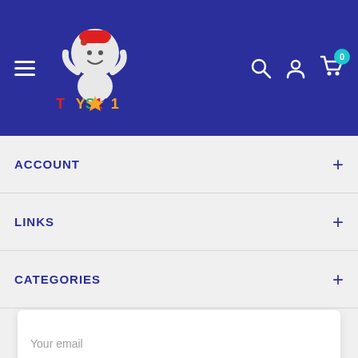[Figure (logo): Toys101 website header with hamburger menu icon, Toys101 colorful logo with cartoon character, search icon, account icon, and cart icon with badge showing 0]
ACCOUNT
LINKS
CATEGORIES
We use cookies and other tracking technologies to improve your browsing experience on our website, to show you personalized content and targeted ads, to analyze our website traffic, and to understand where our visitors are coming from.
Accept
Your email